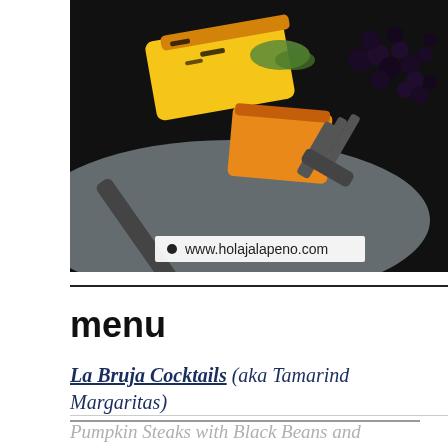[Figure (photo): A close-up food photo of grilled pumpkin steaks on a fork with black beans, with a watermark bar reading www.holajalapeno.com]
menu
La Bruja Cocktails (aka Tamarind Margaritas)
Pumpkin Steaks with Black Beans and Jalapeño Pesto